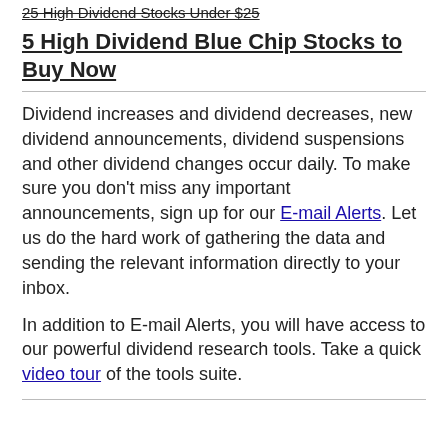25 High Dividend Stocks Under $25
5 High Dividend Blue Chip Stocks to Buy Now
Dividend increases and dividend decreases, new dividend announcements, dividend suspensions and other dividend changes occur daily. To make sure you don't miss any important announcements, sign up for our E-mail Alerts. Let us do the hard work of gathering the data and sending the relevant information directly to your inbox.
In addition to E-mail Alerts, you will have access to our powerful dividend research tools. Take a quick video tour of the tools suite.